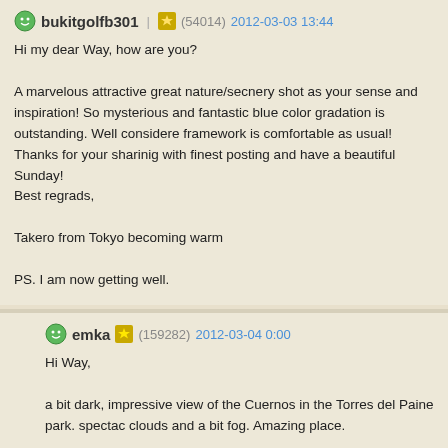bukitgolfb301 (54014) 2012-03-03 13:44
Hi my dear Way, how are you?

A marvelous attractive great nature/secnery shot as your sense and inspiration! So mysterious and fantastic blue color gradation is outstanding. Well considered framework is comfortable as usual!
Thanks for your sharinig with finest posting and have a beautiful Sunday!
Best regrads,

Takero from Tokyo becoming warm

PS. I am now getting well.
emka (159282) 2012-03-04 0:00
Hi Way,

a bit dark, impressive view of the Cuernos in the Torres del Paine park. spectac clouds and a bit fog. Amazing place.

Warm regards

MAlgo
seyy (58) 2012-03-04 1:08